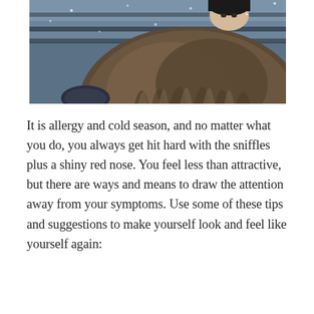[Figure (photo): A person bundled in a large furry/fuzzy coat sitting outdoors in winter, with frost or snow visible in the background. The image has a cold blue-grey tone. Only the person's eyes and top of head are visible above the coat collar.]
It is allergy and cold season, and no matter what you do, you always get hit hard with the sniffles plus a shiny red nose. You feel less than attractive, but there are ways and means to draw the attention away from your symptoms. Use some of these tips and suggestions to make yourself look and feel like yourself again: